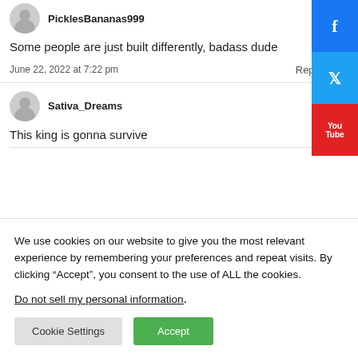PicklesBananas999
Some people are just built differently, badass dude
June 22, 2022 at 7:22 pm
Reply
Sativa_Dreams
This king is gonna survive
We use cookies on our website to give you the most relevant experience by remembering your preferences and repeat visits. By clicking “Accept”, you consent to the use of ALL the cookies.
Do not sell my personal information.